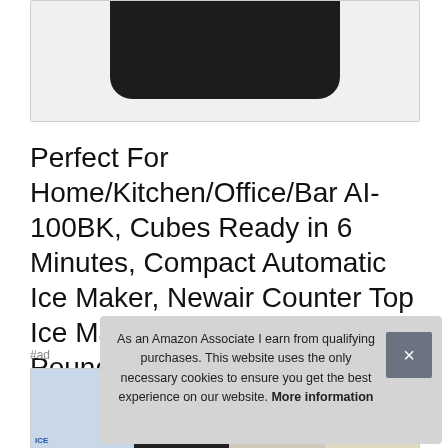[Figure (photo): Product image of a black ice maker machine shown from above/angle, mostly cut off at top of page]
Perfect For Home/Kitchen/Office/Bar AI-100BK, Cubes Ready in 6 Minutes, Compact Automatic Ice Maker, Newair Counter Top Ice Maker Machine Black, 28 Pounds In 24 Hours
#ad
[Figure (photo): Row of product thumbnail images at bottom of page, partially obscured by cookie banner]
As an Amazon Associate I earn from qualifying purchases. This website uses the only necessary cookies to ensure you get the best experience on our website. More information